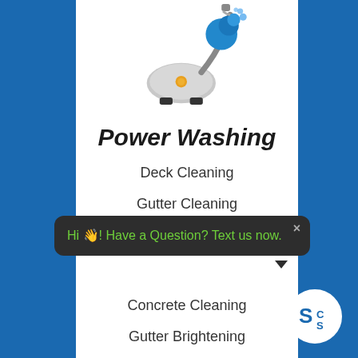[Figure (illustration): Cartoon-style vacuum cleaner with a blue water spray attachment, shown on a white background at the top of the card.]
Power Washing
Deck Cleaning
Gutter Cleaning
Concrete Cleaning
Gutter Brightening
Hi 👋! Have a Question? Text us now.
[Figure (logo): Circular white logo badge with stylized letters 'S' and 'C S' in blue and white.]